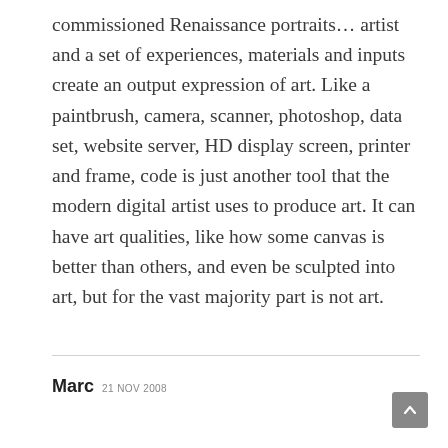commissioned Renaissance portraits... artist and a set of experiences, materials and inputs create an output expression of art. Like a paintbrush, camera, scanner, photoshop, data set, website server, HD display screen, printer and frame, code is just another tool that the modern digital artist uses to produce art. It can have art qualities, like how some canvas is better than others, and even be sculpted into art, but for the vast majority part is not art.
Marc 21 NOV 2008